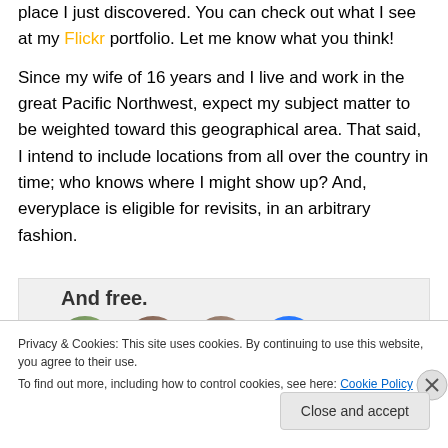place I just discovered.  You can check out what I see at my Flickr portfolio.  Let me know what you think!
Since my wife of 16 years and I live and work in the great Pacific Northwest, expect my subject matter to be weighted toward this geographical area.  That said, I intend to include locations from all over the country in time; who knows where I might show up?  And, everyplace is eligible for revisits, in an arbitrary fashion.
[Figure (screenshot): A screenshot of a website section showing bold heading text 'And free.' and a row of circular avatar profile images including green, brown, tan, and blue colored circles.]
Privacy & Cookies: This site uses cookies. By continuing to use this website, you agree to their use.
To find out more, including how to control cookies, see here: Cookie Policy
Close and accept